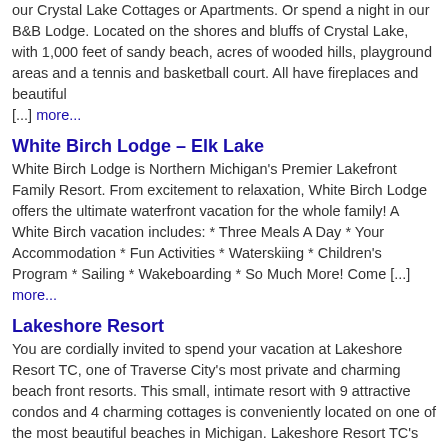our Crystal Lake Cottages or Apartments. Or spend a night in our B&B Lodge. Located on the shores and bluffs of Crystal Lake, with 1,000 feet of sandy beach, acres of wooded hills, playground areas and a tennis and basketball court. All have fireplaces and beautiful [...] more...
White Birch Lodge – Elk Lake
White Birch Lodge is Northern Michigan's Premier Lakefront Family Resort. From excitement to relaxation, White Birch Lodge offers the ultimate waterfront vacation for the whole family! A White Birch vacation includes: * Three Meals A Day * Your Accommodation * Fun Activities * Waterskiing * Children's Program * Sailing * Wakeboarding * So Much More! Come [...] more...
Lakeshore Resort
You are cordially invited to spend your vacation at Lakeshore Resort TC, one of Traverse City's most private and charming beach front resorts. This small, intimate resort with 9 attractive condos and 4 charming cottages is conveniently located on one of the most beautiful beaches in Michigan. Lakeshore Resort TC's appealing 'cottage style' and its location [...] more...
North Shore Inn – Traverse City